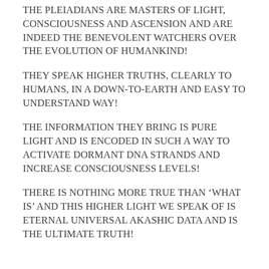THE PLEIADIANS ARE MASTERS OF LIGHT, CONSCIOUSNESS AND ASCENSION AND ARE INDEED THE BENEVOLENT WATCHERS OVER THE EVOLUTION OF HUMANKIND!
THEY SPEAK HIGHER TRUTHS, CLEARLY TO HUMANS, IN A DOWN-TO-EARTH AND EASY TO UNDERSTAND WAY!
THE INFORMATION THEY BRING IS PURE LIGHT AND IS ENCODED IN SUCH A WAY TO ACTIVATE DORMANT DNA STRANDS AND INCREASE CONSCIOUSNESS LEVELS!
THERE IS NOTHING MORE TRUE THAN ‘WHAT IS’ AND THIS HIGHER LIGHT WE SPEAK OF IS ETERNAL UNIVERSAL AKASHIC DATA AND IS THE ULTIMATE TRUTH!